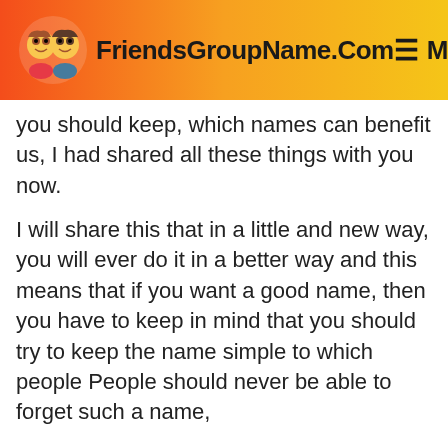FriendsGroupName.Com   Menu
you should keep, which names can benefit us, I had shared all these things with you now.
I will share this that in a little and new way, you will ever do it in a better way and this means that if you want a good name, then you have to keep in mind that you should try to keep the name simple to which people People should never be able to forget such a name,
so in a simple way I can tell that it is very good, people can never forget it. Rohtak, I hope that whatever tips I am trying to tell,